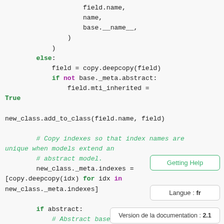Code snippet showing Django model field inheritance logic including deepcopy operations, mti_inherited flag assignment, index copying, and abstract model check.
Getting Help sidebar button
Langue : fr
Version de la documentation : 2.1